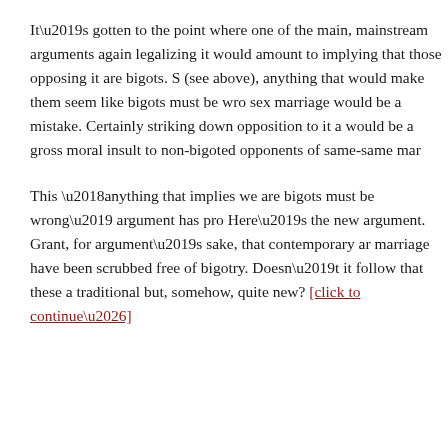It’s gotten to the point where one of the main, mainstream arguments again legalizing it would amount to implying that those opposing it are bigots. S (see above), anything that would make them seem like bigots must be wro sex marriage would be a mistake. Certainly striking down opposition to it would be a gross moral insult to non-bigoted opponents of same-same mar
This ‘anything that implies we are bigots must be wrong’ argument has pro Here’s the new argument. Grant, for argument’s sake, that contemporary a marriage have been scrubbed free of bigotry. Doesn’t it follow that these a traditional but, somehow, quite new? [click to continue…]